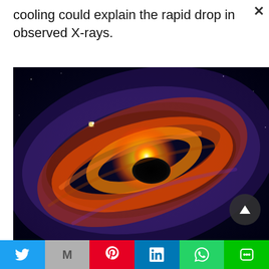cooling could explain the rapid drop in observed X-rays.
[Figure (illustration): Artistic rendering of a black hole with an accretion disk showing swirling orange, red, and purple glowing gas spiraling into a dark central region against a deep blue and black space background.]
Twitter | Gmail | Pinterest | LinkedIn | WhatsApp | LINE